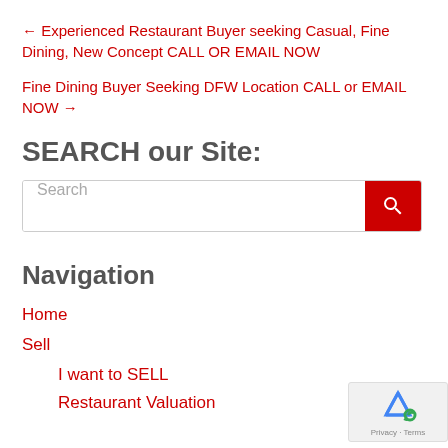← Experienced Restaurant Buyer seeking Casual, Fine Dining, New Concept CALL OR EMAIL NOW
Fine Dining Buyer Seeking DFW Location CALL or EMAIL NOW →
SEARCH our Site:
Search
Navigation
Home
Sell
I want to SELL
Restaurant Valuation